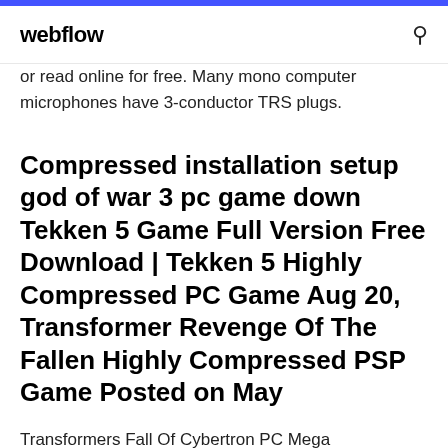webflow
or read online for free. Many mono computer microphones have 3-conductor TRS plugs.
Compressed installation setup god of war 3 pc game down Tekken 5 Game Full Version Free Download | Tekken 5 Highly Compressed PC Game Aug 20, Transformer Revenge Of The Fallen Highly Compressed PSP Game Posted on May
Transformers Fall Of Cybertron PC Mega